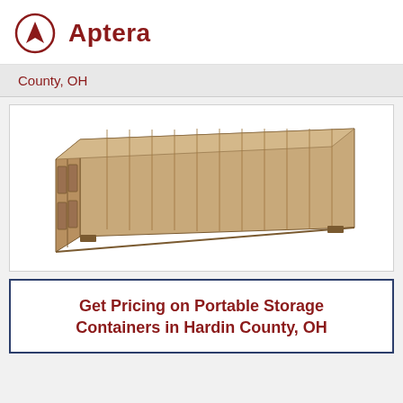Aptera
County, OH
[Figure (photo): Photograph of a large tan/beige portable storage shipping container, shown in 3/4 view with corrugated metal sides and double doors on the left end.]
Get Pricing on Portable Storage Containers in Hardin County, OH